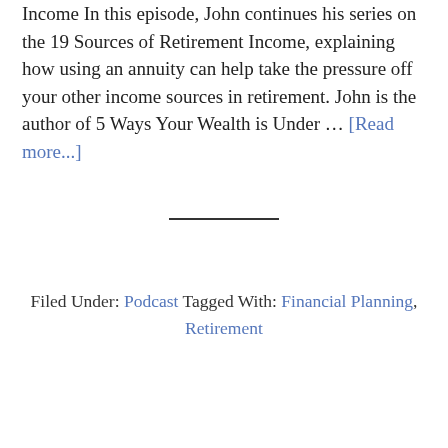Income In this episode, John continues his series on the 19 Sources of Retirement Income, explaining how using an annuity can help take the pressure off your other income sources in retirement. John is the author of 5 Ways Your Wealth is Under ... [Read more...]
Filed Under: Podcast Tagged With: Financial Planning, Retirement